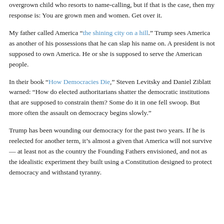overgrown child who resorts to name-calling, but if that is the case, then my response is: You are grown men and women. Get over it.
My father called America “the shining city on a hill.” Trump sees America as another of his possessions that he can slap his name on. A president is not supposed to own America. He or she is supposed to serve the American people.
In their book “How Democracies Die,” Steven Levitsky and Daniel Ziblatt warned: “How do elected authoritarians shatter the democratic institutions that are supposed to constrain them? Some do it in one fell swoop. But more often the assault on democracy begins slowly.”
Trump has been wounding our democracy for the past two years. If he is reelected for another term, it’s almost a given that America will not survive — at least not as the country the Founding Fathers envisioned, and not as the idealistic experiment they built using a Constitution designed to protect democracy and withstand tyranny.